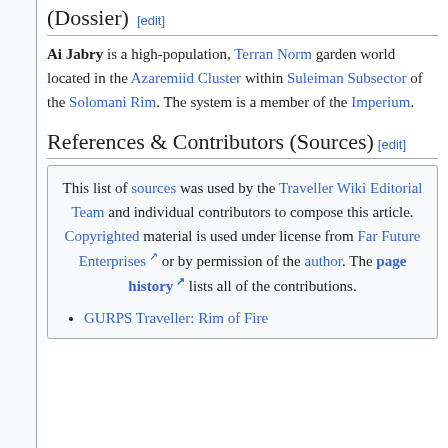(Dossier) [edit]
Ai Jabry is a high-population, Terran Norm garden world located in the Azaremiid Cluster within Suleiman Subsector of the Solomani Rim. The system is a member of the Imperium.
References & Contributors (Sources) [edit]
This list of sources was used by the Traveller Wiki Editorial Team and individual contributors to compose this article. Copyrighted material is used under license from Far Future Enterprises or by permission of the author. The page history lists all of the contributions.
GURPS Traveller: Rim of Fire